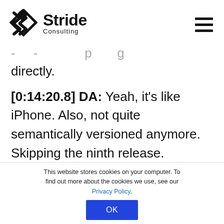Stride Consulting
directly.
[0:14:20.8] DA: Yeah, it's like iPhone. Also, not quite semantically versioned anymore. Skipping the ninth release. Everyone kind of does that. When they get to 10, they're
This website stores cookies on your computer. To find out more about the cookies we use, see our Privacy Policy.
OK